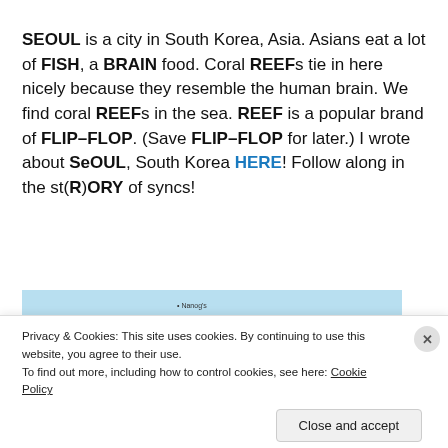SEOUL is a city in South Korea, Asia. Asians eat a lot of FISH, a BRAIN food. Coral REEFs tie in here nicely because they resemble the human brain. We find coral REEFs in the sea. REEF is a popular brand of FLIP–FLOP. (Save FLIP–FLOP for later.) I wrote about SeOUL, South Korea HERE! Follow along in the st(R)ORY of syncs!
[Figure (map): Partial map showing coastal area with light blue water and beige land, with orange dots marking locations. A small text label reads 'Nanog's'.]
Privacy & Cookies: This site uses cookies. By continuing to use this website, you agree to their use.
To find out more, including how to control cookies, see here: Cookie Policy
Close and accept